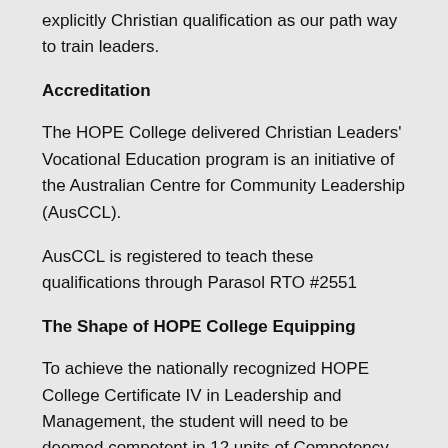explicitly Christian qualification as our path way to train leaders.
Accreditation
The HOPE College delivered Christian Leaders' Vocational Education program is an initiative of the Australian Centre for Community Leadership (AusCCL).
AusCCL is registered to teach these qualifications through Parasol RTO #2551
The Shape of HOPE College Equipping
To achieve the nationally recognized HOPE College Certificate IV in Leadership and Management, the student will need to be deemed competent in 12 units of Competency. The actual hours of study will be